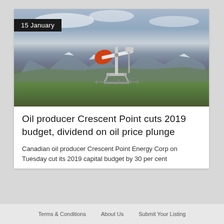[Figure (photo): Oil pump jack (pumpjack) with orange and white coloring against a cloudy blue sky and snow-capped mountains, standing on green grassland. Date badge '15 January' in top-left corner.]
Oil producer Crescent Point cuts 2019 budget, dividend on oil price plunge
Canadian oil producer Crescent Point Energy Corp on Tuesday cut its 2019 capital budget by 30 per cent
Terms & Conditions   About Us   Submit Your Listing